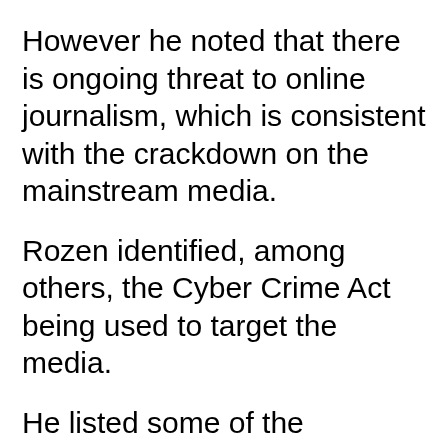However he noted that there is ongoing threat to online journalism, which is consistent with the crackdown on the mainstream media.
Rozen identified, among others, the Cyber Crime Act being used to target the media.
He listed some of the journalists and online publishers who have fallen victim of official harassment over the years in Nigeria.
He suggested that going forward, there